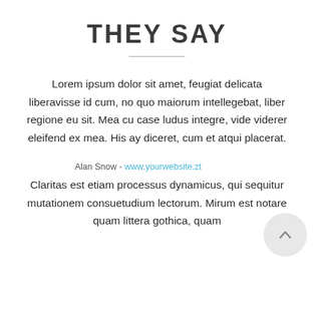THEY SAY
Lorem ipsum dolor sit amet, feugiat delicata liberavisse id cum, no quo maiorum intellegebat, liber regione eu sit. Mea cu case ludus integre, vide viderer eleifend ex mea. His ay diceret, cum et atqui placerat.
Alan Snow - www.yourwebsite.zt
Claritas est etiam processus dynamicus, qui sequitur mutationem consuetudium lectorum. Mirum est notare quam littera gothica, quam